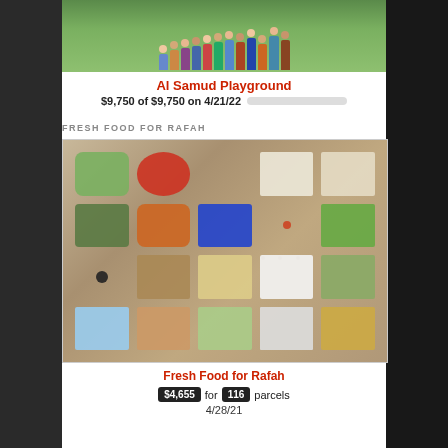[Figure (photo): Group photo of children and adults standing outdoors on a green lawn, taken from below showing their legs and lower bodies with a colorful inflatable toy visible at right.]
Al Samud Playground
$9,750 of $9,750 on 4/21/22 [progress bar fully filled in blue]
FRESH FOOD FOR RAFAH
[Figure (photo): Overhead photo of food parcels laid out on a tiled floor: bags of vegetables (cucumbers, tomatoes, potatoes, onions), bottles of cooking oil, bags of flour/rice/grain, canned goods, eggs in a tray, packaged pasta, and other food items.]
Fresh Food for Rafah
$4,655 for 116 parcels
4/28/21